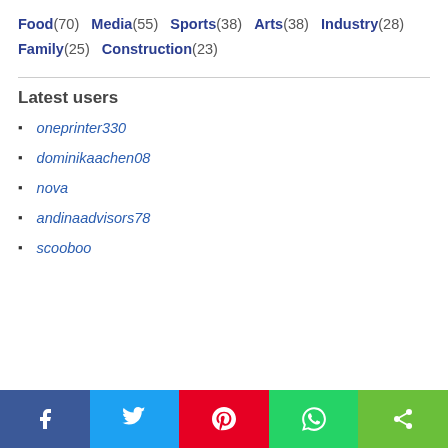Food (70)  Media (55)  Sports (38)  Arts (38)  Industry (28)  Family (25)  Construction (23)
Latest users
oneprinter330
dominikaachen08
nova
andinaadvisors78
scooboo
Facebook  Twitter  Pinterest  WhatsApp  Share